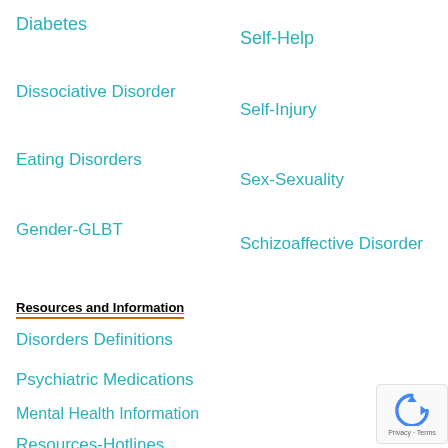Diabetes
Self-Help
Dissociative Disorder
Self-Injury
Eating Disorders
Sex-Sexuality
Gender-GLBT
Schizoaffective Disorder
Resources and Information
Disorders Definitions
Psychiatric Medications
Mental Health Information
Resources-Hotlines